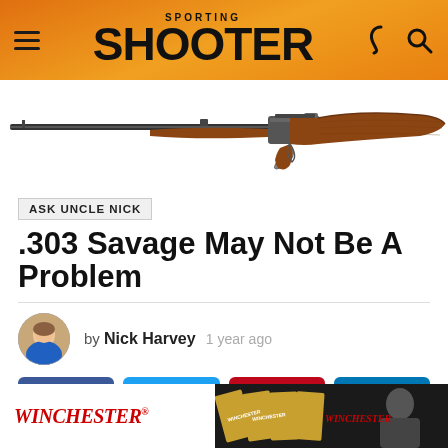SPORTING SHOOTER
[Figure (photo): Lever-action rifle with wooden stock, shown in profile against white background]
ASK UNCLE NICK
.303 Savage May Not Be A Problem
by Nick Harvey  1 year ago
[Figure (infographic): Social media share buttons: Facebook, Twitter, Pinterest, LinkedIn]
[Figure (photo): Winchester ammunition advertisement]